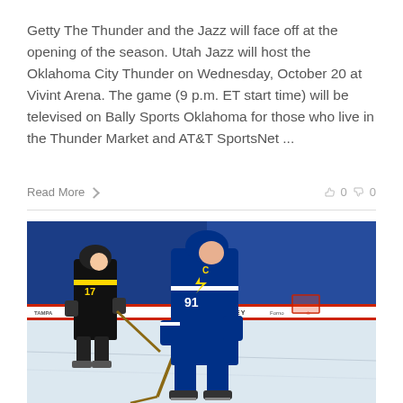Getty The Thunder and the Jazz will face off at the opening of the season. Utah Jazz will host the Oklahoma City Thunder on Wednesday, October 20 at Vivint Arena. The game (9 p.m. ET start time) will be televised on Bally Sports Oklahoma for those who live in the Thunder Market and AT&T SportsNet ...
Read More  0  0
[Figure (photo): Hockey game photo showing a Tampa Bay Lightning player wearing #91 with a 'C' captain patch in blue uniform skating with a stick, and a Pittsburgh Penguins player wearing #17 in black and yellow uniform in the background. Arena crowd visible in the background.]